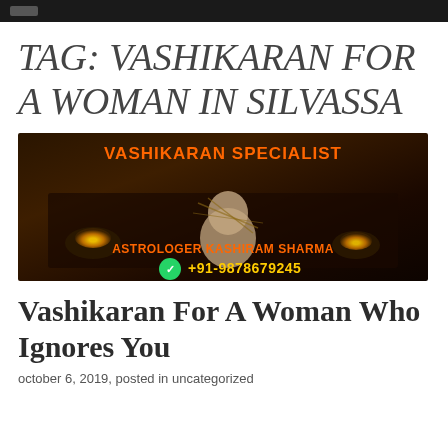TAG: VASHIKARAN FOR A WOMAN IN SILVASSA
[Figure (photo): Vashikaran Specialist banner image showing a voodoo doll on a dark book with candles, overlaid with text 'VASHIKARAN SPECIALIST', 'ASTROLOGER KASHIRAM SHARMA', and phone number '+91-9878679245' with WhatsApp icon]
Vashikaran For A Woman Who Ignores You
october 6, 2019, posted in uncategorized